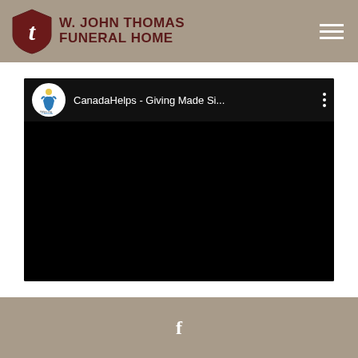W. JOHN THOMAS FUNERAL HOME
[Figure (screenshot): YouTube-style embedded video player showing CanadaHelps channel. Black background with channel icon (CanadaHelps.org logo), title 'CanadaHelps - Giving Made Si...' and three-dot menu icon in top bar.]
Facebook icon link